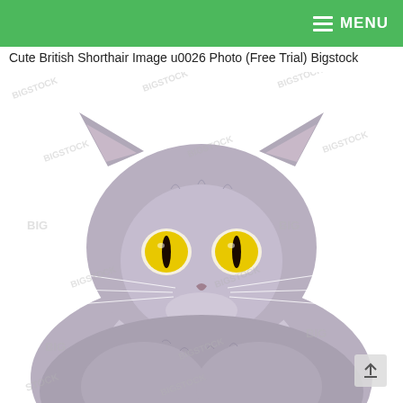≡ MENU
Cute British Shorthair Image u0026 Photo (Free Trial) Bigstock
[Figure (photo): Close-up portrait of a British Shorthair cat with grey fur and bright yellow/amber eyes, facing camera directly, white background, watermarked Bigstock stock photo]